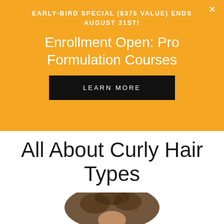EARLY-BIRD SPECIAL ($375 VALUE) ENDS AUGUST 31ST!
Enrollment Open: Pro Formulation Courses
LEARN MORE
All About Curly Hair Types
[Figure (photo): Woman with voluminous curly afro hair, photographed from slightly above, looking down, on white background]